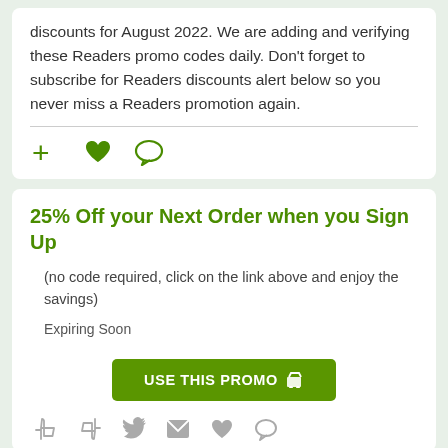discounts for August 2022. We are adding and verifying these Readers promo codes daily. Don't forget to subscribe for Readers discounts alert below so you never miss a Readers promotion again.
[Figure (infographic): Three green icons: a plus sign, a heart, and a speech bubble]
25% Off your Next Order when you Sign Up
(no code required, click on the link above and enjoy the savings)
Expiring Soon
[Figure (infographic): Green button labeled USE THIS PROMO with a shopping cart icon]
[Figure (infographic): Six gray icons: thumbs up, thumbs down, Twitter bird, envelope, heart, speech bubble]